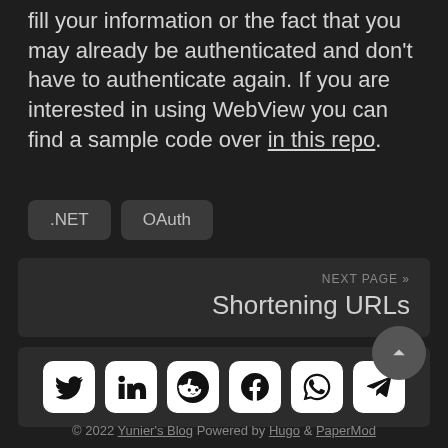fill your information or the fact that you may already be authenticated and don't have to authenticate again. If you are interested in using WebView you can find a sample code over in this repo.
.NET
OAuth
NEXT PAGE »
Shortening URLs
[Figure (other): Social sharing icons: Twitter, LinkedIn, Reddit, Facebook, WhatsApp, Telegram]
© 2022 Yunier's Blog  Powered by Hugo & PaperMod